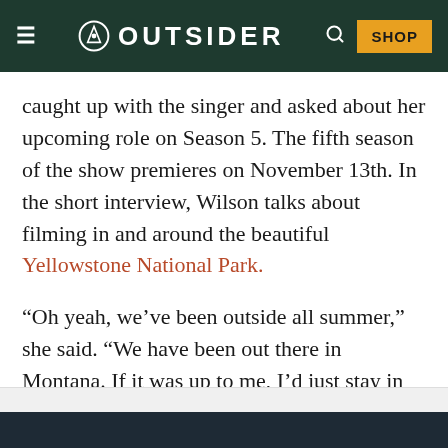OUTSIDER
caught up with the singer and asked about her upcoming role on Season 5. The fifth season of the show premieres on November 13th. In the short interview, Wilson talks about filming in and around the beautiful Yellowstone National Park.
“Oh yeah, we’ve been outside all summer,” she said. “We have been out there in Montana. If it was up to me, I’d just stay in Montana.”
ADVERTISEMENT